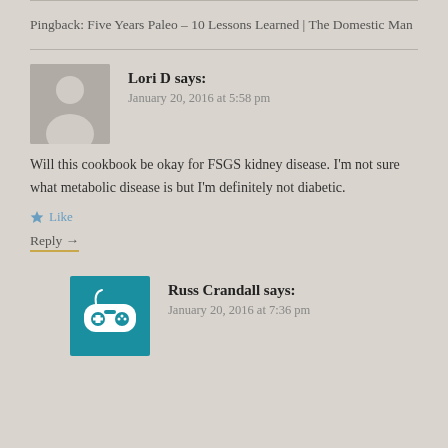Pingback: Five Years Paleo – 10 Lessons Learned | The Domestic Man
Lori D says:
January 20, 2016 at 5:58 pm
Will this cookbook be okay for FSGS kidney disease. I'm not sure what metabolic disease is but I'm definitely not diabetic.
★ Like
Reply →
Russ Crandall says:
January 20, 2016 at 7:36 pm